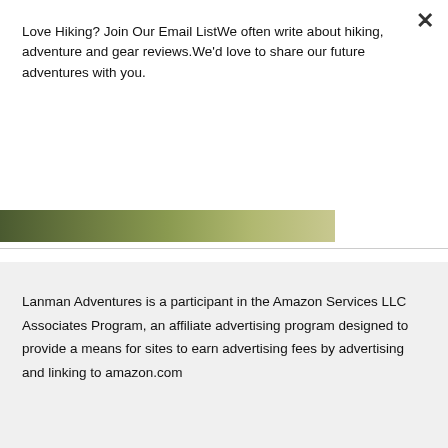Love Hiking? Join Our Email ListWe often write about hiking, adventure and gear reviews.We'd love to share our future adventures with you.
Subscribe
[Figure (photo): Partial view of an outdoor/hiking scene with green and brown tones]
Lanman Adventures is a participant in the Amazon Services LLC Associates Program, an affiliate advertising program designed to provide a means for sites to earn advertising fees by advertising and linking to amazon.com